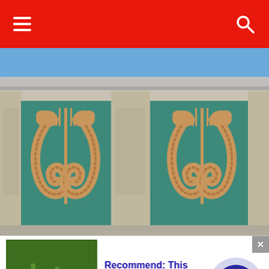Navigation header with hamburger menu and search icon
[Figure (photo): Close-up photograph of architectural ceramic tile frieze featuring paired seahorse decorative motifs in golden-brown glaze on a teal/green background, separated by stone pilasters, with a metal rain gutter visible at the top against a blue sky.]
[Figure (photo): Advertisement thumbnail showing a red bowl with liquid surrounded by green plants/grass, promoting a diabetes treatment.]
Recommend: This Diabetes Treatment Will
n/a